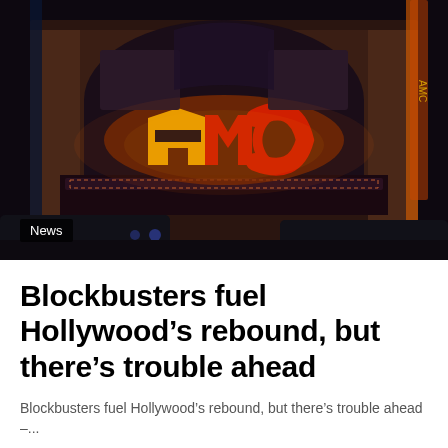[Figure (photo): Nighttime exterior photo of an AMC movie theater with illuminated yellow and red AMC neon sign on the marquee facade. The theater has a grand arched entrance with ornate architectural details. Cars are visible in the foreground. The scene is lit with warm neon and theater lighting against a dark night sky.]
News
Blockbusters fuel Hollywood’s rebound, but there’s trouble ahead
Blockbusters fuel Hollywood’s rebound, but there’s trouble ahead –...
Internewscast · May 25, 2022